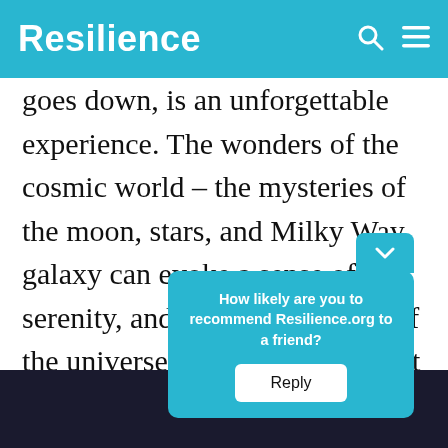Resilience
goes down, is an unforgettable experience. The wonders of the cosmic world – the mysteries of the moon, stars, and Milky Way galaxy can evoke a sense of serenity, and limitless expanse of the universe. The act of gazing at the sky is also one of the basic forms of human connection, transcending time and distance.
How likely are you to recommend Resilience.org to a friend?
Reply